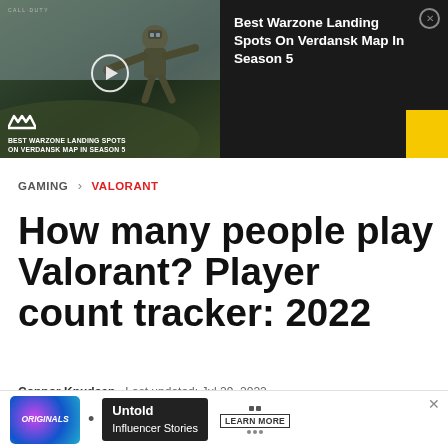[Figure (screenshot): Video ad thumbnail showing a skydiving soldier from Call of Duty Warzone with text 'BEST WARZONE LANDING SPOTS ON VERDANSK MAP IN SEASON 5' and ad title 'Best Warzone Landing Spots On Verdansk Map In Season 5']
GAMING > VALORANT
How many people play Valorant? Player count tracker: 2022
Connor Knudsen . Last updated: Jul 29, 2022
[Figure (screenshot): Bottom advertisement banner: Originals logo, bullet point, 'Untold Influencer Stories' with LEARN MORE button and X close button]